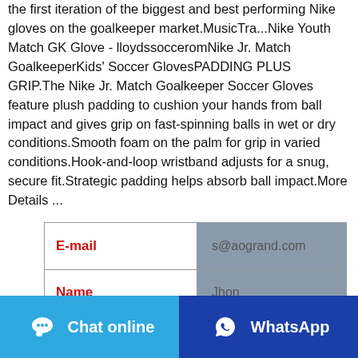the first iteration of the biggest and best performing Nike gloves on the goalkeeper market.MusicTra...Nike Youth Match GK Glove - lloydssocceromNike Jr. Match GoalkeeperKids' Soccer GlovesPADDING PLUS GRIP.The Nike Jr. Match Goalkeeper Soccer Gloves feature plush padding to cushion your hands from ball impact and gives grip on fast-spinning balls in wet or dry conditions.Smooth foam on the palm for grip in varied conditions.Hook-and-loop wristband adjusts for a snug, secure fit.Strategic padding helps absorb ball impact.More Details ...
| Field | Value |
| --- | --- |
| E-mail | s@aogrand.com |
| Name | Jhon |
| Whatsapp/Te |  |